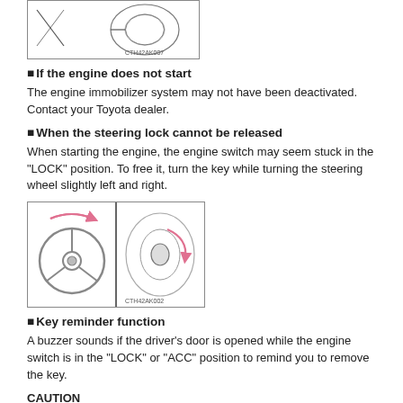[Figure (illustration): Drawing of a hand inserting/turning a key in an ignition switch, with code CTH42AK007]
If the engine does not start
The engine immobilizer system may not have been deactivated. Contact your Toyota dealer.
When the steering lock cannot be released
When starting the engine, the engine switch may seem stuck in the “LOCK” position. To free it, turn the key while turning the steering wheel slightly left and right.
[Figure (illustration): Two-panel diagram showing a steering wheel with pink arrows indicating left-right turning motion, and a close-up of the ignition key being turned, with code CTH42AK002]
Key reminder function
A buzzer sounds if the driver’s door is opened while the engine switch is in the “LOCK” or “ACC” position to remind you to remove the key.
CAUTION